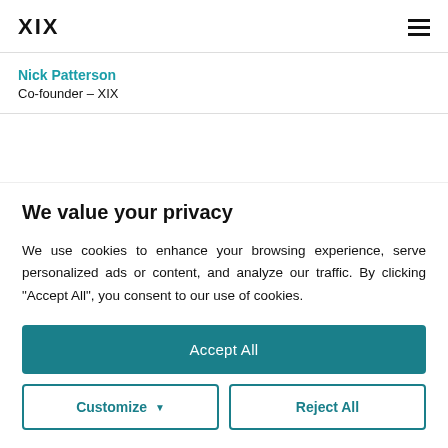XIX
Nick Patterson
Co-founder – XIX
We value your privacy
We use cookies to enhance your browsing experience, serve personalized ads or content, and analyze our traffic. By clicking "Accept All", you consent to our use of cookies.
Accept All
Customize
Reject All